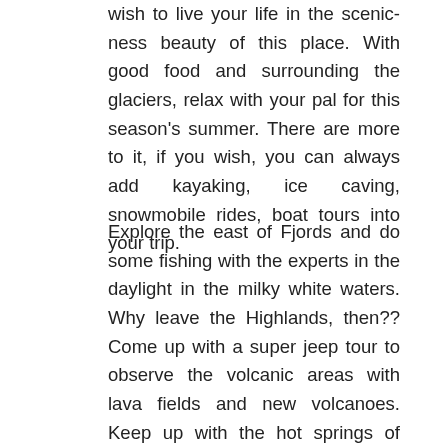wish to live your life in the scenic-ness beauty of this place. With good food and surrounding the glaciers, relax with your pal for this season's summer. There are more to it, if you wish, you can always add kayaking, ice caving, snowmobile rides, boat tours into your trip.
Explore the east of Fjords and do some fishing with the experts in the daylight in the milky white waters. Why leave the Highlands, then?? Come up with a super jeep tour to observe the volcanic areas with lava fields and new volcanoes. Keep up with the hot springs of Námaskarð, and other attractions up north. And If you haven't seen the ocean, the Arctic ocean is something to actually visit for watching the largest mammals of the world, the whales.